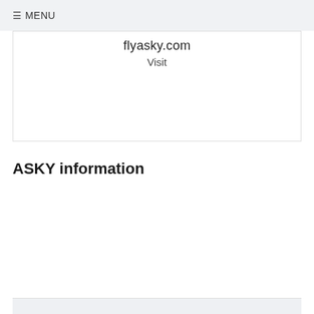≡ MENU
flyasky.com
Visit
ASKY information
| IATA Code | KP |
| Routes | 64 |
| Top route | Lome to Ouagadougou |
| Airports served | 25 |